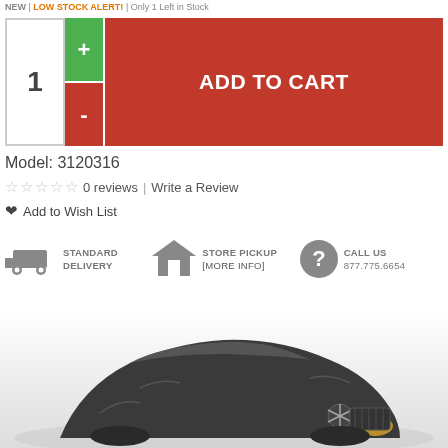NEW | LOW STOCK ALERT! | Only 1 Left in Stock
Model: 3120316
0 reviews | Write a Review
Add to Wish List
STANDARD DELIVERY   STORE PICKUP [More Info]   CALL US 877.775.6654
[Figure (photo): A dark gray/black car cover fitted over a Mercedes-Benz vehicle, showing the front and partial side view of the car covered with a fabric cover.]